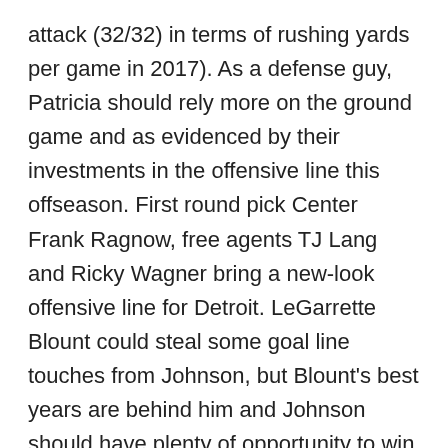attack (32/32) in terms of rushing yards per game in 2017). As a defense guy, Patricia should rely more on the ground game and as evidenced by their investments in the offensive line this offseason. First round pick Center Frank Ragnow, free agents TJ Lang and Ricky Wagner bring a new-look offensive line for Detroit. LeGarrette Blount could steal some goal line touches from Johnson, but Blount's best years are behind him and Johnson should have plenty of opportunity to win the starting job after playing big boy football against future NFL talent at Auburn for three years.
Nyheim Hines, Colts Running Back – The Colts, like the Lions have not boasted a fearsome ground game in seasons past. Hines has shown a strong running presence against above average D-1 defenses such as Florida State and Boston College and his 4.52 40 time suggest that...